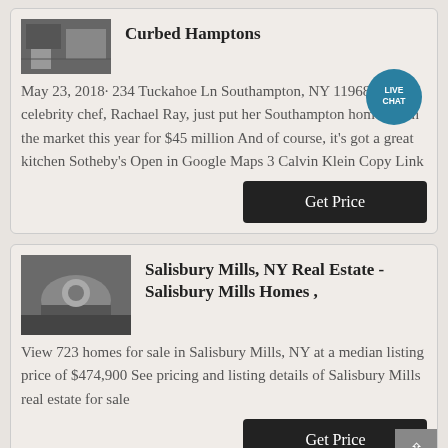[Figure (photo): Small thumbnail image of a house/property for Curbed Hamptons listing]
Curbed Hamptons
May 23, 2018· 234 Tuckahoe Ln Southampton, NY 11968 Famed celebrity chef, Rachael Ray, just put her Southampton home up on the market this year for $45 million And of course, it's got a great kitchen Sotheby's Open in Google Maps 3 Calvin Klein Copy Link
[Figure (photo): Small thumbnail image of a property interior for Salisbury Mills listing]
Salisbury Mills, NY Real Estate - Salisbury Mills Homes ,
View 723 homes for sale in Salisbury Mills, NY at a median listing price of $474,900 See pricing and listing details of Salisbury Mills real estate for sale